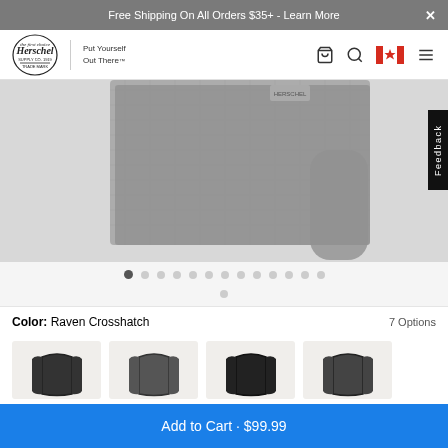Free Shipping On All Orders $35+ - Learn More
[Figure (screenshot): Herschel Supply Co. logo with text 'Put Yourself Out There']
[Figure (photo): Grey crosshatch textured tote bag product photo on light grey background]
Color: Raven Crosshatch   7 Options
[Figure (photo): Four color option swatches showing different colored tote bags]
Add to Cart · $99.99